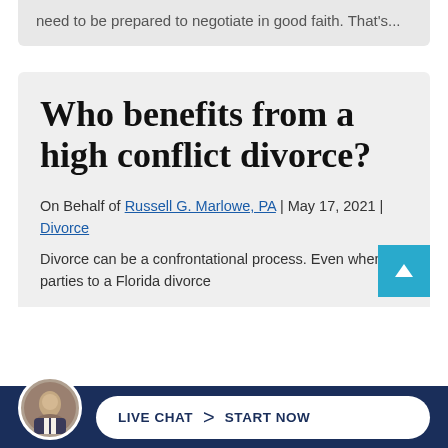need to be prepared to negotiate in good faith. That's...
Who benefits from a high conflict divorce?
On Behalf of Russell G. Marlowe, PA | May 17, 2021 | Divorce
Divorce can be a confrontational process. Even when the parties to a Florida divorce